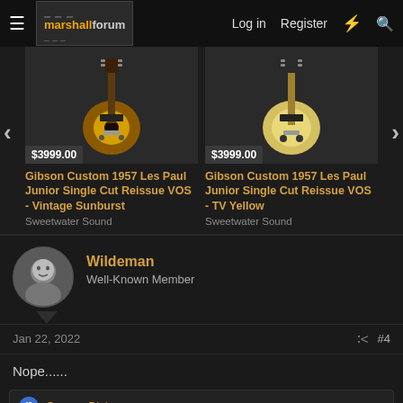marshallforum — Log in  Register
[Figure (photo): Gibson Custom 1957 Les Paul Junior Single Cut Reissue VOS - Vintage Sunburst guitar product card priced $3999.00 from Sweetwater Sound]
[Figure (photo): Gibson Custom 1957 Les Paul Junior Single Cut Reissue VOS - TV Yellow guitar product card priced $3999.00 from Sweetwater Sound]
Gibson Custom 1957 Les Paul Junior Single Cut Reissue VOS - Vintage Sunburst
Sweetwater Sound
Gibson Custom 1957 Les Paul Junior Single Cut Reissue VOS - TV Yellow
Sweetwater Sound
Wildeman
Well-Known Member
Jan 22, 2022
#4
Nope......
George Dickens